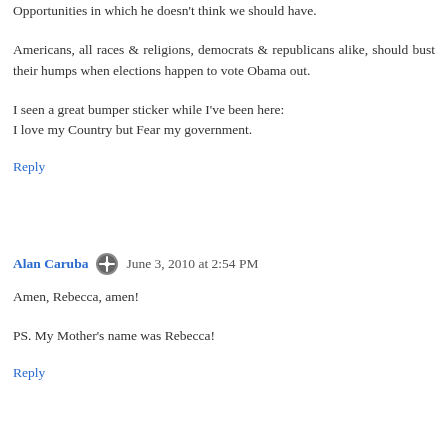place & needs THAT kind of change. People pour into our country by the boatloads to live in the US because of our freedoms & opportunities. Freedoms in which Obama doesn't believe we should be allowed. Opportunities in which he doesn't think we should have.
Americans, all races & religions, democrats & republicans alike, should bust their humps when elections happen to vote Obama out.
I seen a great bumper sticker while I've been here:
I love my Country but Fear my government.
Reply
Alan Caruba  June 3, 2010 at 2:54 PM
Amen, Rebecca, amen!
PS. My Mother's name was Rebecca!
Reply